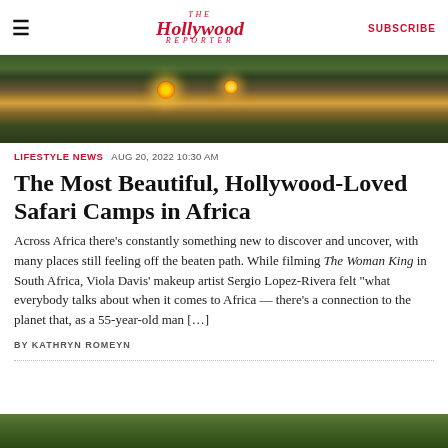The Hollywood Reporter | SUBSCRIBE
[Figure (photo): Outdoor safari camp at night with glowing torches/fire lights amid lush green and brown African bush vegetation]
LIFESTYLE NEWS  AUG 20, 2022 10:30 AM
The Most Beautiful, Hollywood-Loved Safari Camps in Africa
Across Africa there’s constantly something new to discover and uncover, with many places still feeling off the beaten path. While filming The Woman King in South Africa, Viola Davis’ makeup artist Sergio Lopez-Rivera felt “what everybody talks about when it comes to Africa — there’s a connection to the planet that, as a 55-year-old man […]
BY KATHRYN ROMEYN
[Figure (photo): Bottom strip showing African bush/safari landscape with green foliage]